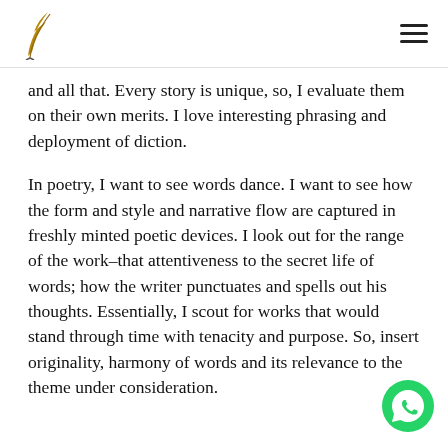[Logo: quill pen icon] [Hamburger menu]
and all that. Every story is unique, so, I evaluate them on their own merits. I love interesting phrasing and deployment of diction.
In poetry, I want to see words dance. I want to see how the form and style and narrative flow are captured in freshly minted poetic devices. I look out for the range of the work–that attentiveness to the secret life of words; how the writer punctuates and spells out his thoughts. Essentially, I scout for works that would stand through time with tenacity and purpose. So, insert originality, harmony of words and its relevance to the theme under consideration.